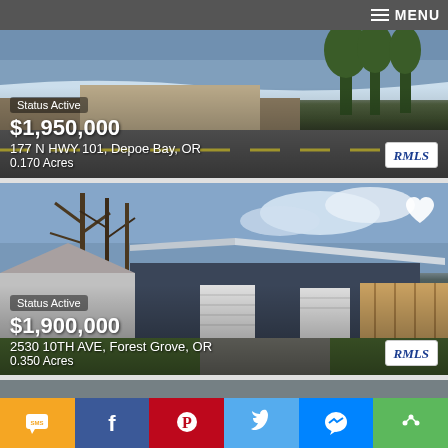≡ MENU
[Figure (photo): Aerial photo of 177 N HWY 101, Depoe Bay, OR — commercial property beside ocean]
Status Active
$1,950,000
177 N HWY 101, Depoe Bay, OR
0.170 Acres
[Figure (photo): Street-level photo of 2530 10TH AVE, Forest Grove, OR — commercial/light industrial building with garage doors]
Status Active
$1,900,000
2530 10TH AVE, Forest Grove, OR
0.350 Acres
[Figure (photo): Partial view of a third property listing]
SMS | Facebook | Pinterest | Twitter | Messenger | Share